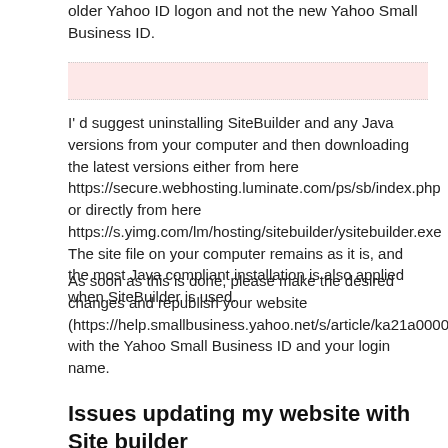older Yahoo ID logon and not the new Yahoo Small Business ID.
[Figure (other): Pink highlighted box with dotted top and bottom borders]
I' d suggest uninstalling SiteBuilder and any Java versions from your computer and then downloading the latest versions either from here https://secure.webhosting.luminate.com/ps/sb/index.php or directly from here https://s.yimg.com/lm/hosting/sitebuilder/ysitebuilder.exe The site file on your computer remains as it is, and the most Java compliant installation is also applied when SiteBuilder is used.
As soon as this is done, please make the desired changes and republish your website (https://help.smallbusiness.yahoo.net/s/article/ka21a0000009ZoIAAU/SLN20874) with the Yahoo Small Business ID and your login name.
Issues updating my website with Site builder